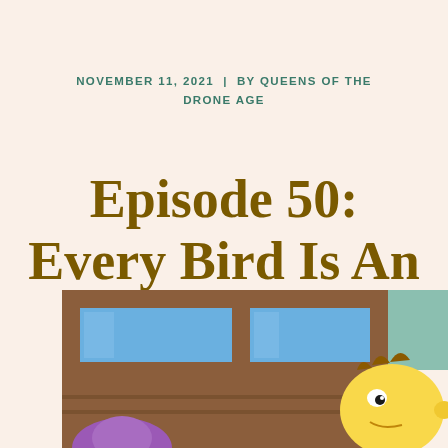NOVEMBER 11, 2021 | BY QUEENS OF THE DRONE AGE
Episode 50: Every Bird Is An X-Man
[Figure (illustration): Cartoon illustration in Simpsons style showing a yellow-skinned character at what appears to be a school bus window, with blue windows and brown wooden frame visible]